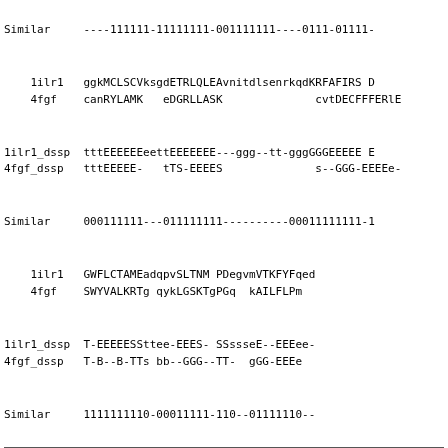Similar     ----111111-11111111-001111111----0111-01111-
1ilr1   ggkMCLSCVksgdETRLQLEAvnitdlsenrkqdKRFAFIRS D
    4fgf    canRYLAMK   eDGRLLASK              cvtDECFFFERlE
1ilr1_dssp  tttEEEEEEeettEEEEEEE---ggg--tt-gggGGGEEEEE E
4fgf_dssp   tttEEEEE-   tTS-EEEES              s--GGG-EEEEe-
Similar     000111111---011111111----------00011111111-1
1ilr1   GWFLCTAMEadqpvSLTNM PDegvmVTKFYFqed
    4fgf    SWYVALKRTg qykLGSKTgPGq  kAILFLPm
1ilr1_dssp  T-EEEEESSttee-EEES- SSssseE--EEEee-
4fgf_dssp   T-B--B-TTs bb--GGG--TT-  gGG-EEEe
Similar     1111111110-00011111-110--01111110--
FILE 1irk_2cpke.align
View flat file superimposition postcript alignment
1irk                       ssvFvpdewevsrekITLLRELGQGsf0
    2cpke   vkeflakakedflkkwetpS   qntaqldqFDRIKTLGTGsf0
1irk_dssp                      -----gggb--gggEEEEEEEEE-sss
2cpke_dssp  -hhhhhhhhhhhhhhhhhs--   -----gggEEEEEEEEE-ssE